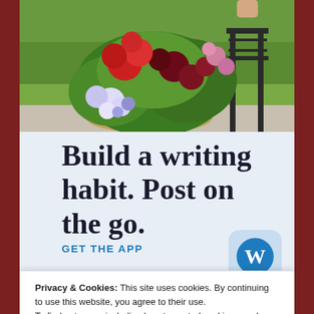[Figure (photo): Garden photo showing colorful flower arrangement with red geraniums, white and purple flowers, dark red blooms, and green foliage in front of a decorative iron bench on a paved surface with grass in the background. A person's hand is partially visible at the top.]
Build a writing habit. Post on the go.
GET THE APP
Privacy & Cookies: This site uses cookies. By continuing to use this website, you agree to their use.
To find out more, including how to control cookies, see here: Cookie Policy
Close and accept